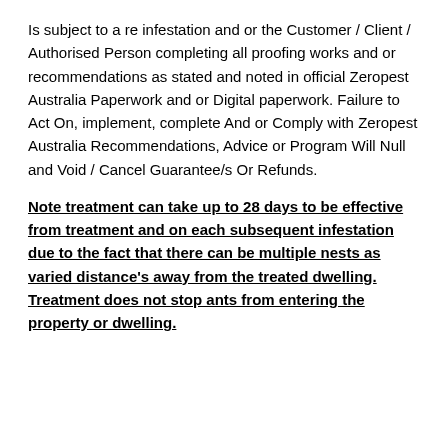Is subject to a re infestation and or the Customer / Client / Authorised Person completing all proofing works and or recommendations as stated and noted in official Zeropest Australia Paperwork and or Digital paperwork. Failure to Act On, implement, complete And or Comply with Zeropest Australia Recommendations, Advice or Program Will Null and Void / Cancel Guarantee/s Or Refunds.
Note treatment can take up to 28 days to be effective from treatment and on each subsequent infestation due to the fact that there can be multiple nests as varied distance's away from the treated dwelling. Treatment does not stop ants from entering the property or dwelling.